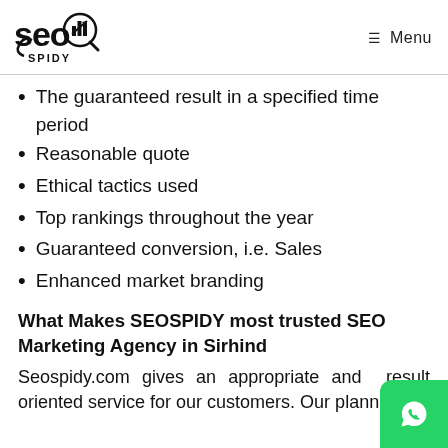SEO SPIDY | Menu
The guaranteed result in a specified time period
Reasonable quote
Ethical tactics used
Top rankings throughout the year
Guaranteed conversion, i.e. Sales
Enhanced market branding
What Makes SEOSPIDY most trusted SEO Marketing Agency in Sirhind
Seospidy.com gives an appropriate and result oriented service for our customers. Our planne